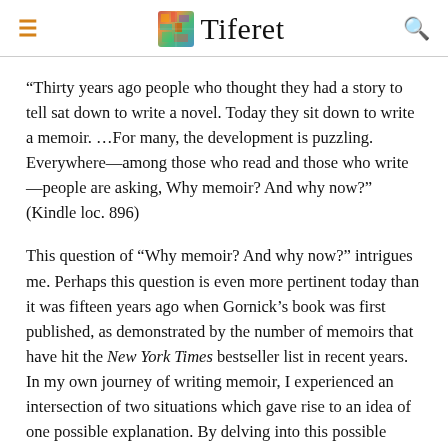Tiferet
“Thirty years ago people who thought they had a story to tell sat down to write a novel. Today they sit down to write a memoir. …For many, the development is puzzling. Everywhere—among those who read and those who write—people are asking, Why memoir? And why now?” (Kindle loc. 896)
This question of “Why memoir? And why now?” intrigues me. Perhaps this question is even more pertinent today than it was fifteen years ago when Gornick’s book was first published, as demonstrated by the number of memoirs that have hit the New York Times bestseller list in recent years. In my own journey of writing memoir, I experienced an intersection of two situations which gave rise to an idea of one possible explanation. By delving into this possible